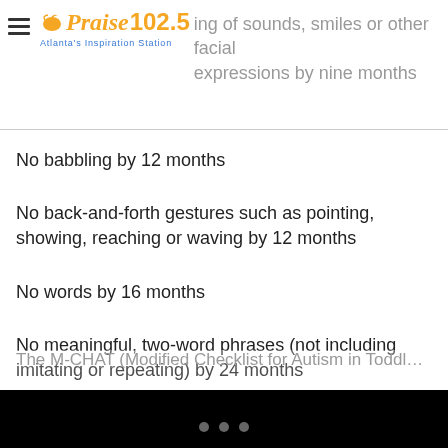Praise 102.5 Atlanta's Inspiration Station
No babbling by 12 months
No back-and-forth gestures such as pointing, showing, reaching or waving by 12 months
No words by 16 months
No meaningful, two-word phrases (not including imitating or repeating) by 24 months
Any loss of speech, babbling or social skills at any age
The M-CHAT (Modified Checklist for Autism in Toddlers)